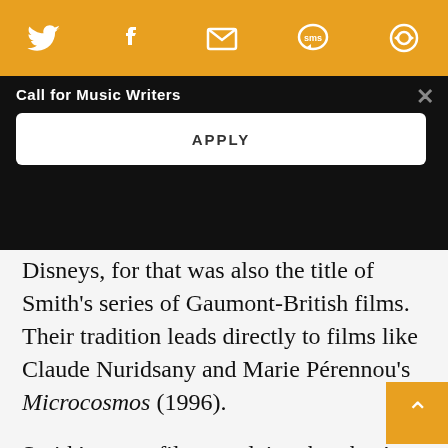[Figure (screenshot): Orange social media sharing bar with Twitter, Facebook, email, SMS, and another icon in white on orange background]
Call for Music Writers
[Figure (screenshot): Black banner with 'Call for Music Writers' text and an APPLY button]
Disneys, for that was also the title of Smith’s series of Gaumont-British films. Their tradition leads directly to films like Claude Nuridsany and Marie Pérennou’s Microcosmos (1996).
Smith’s many films explain what they’re showing clearly, but it’s not Staples’ intention to present an informational film. Rather, he presents a collage of images with an accent on beauty and dreaml… art, the surrealism of scientific fact. Since we… the… Smith and his which the…